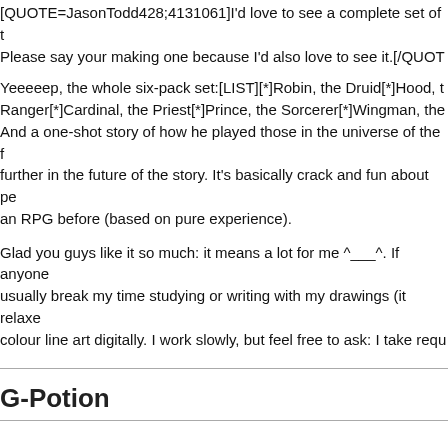[QUOTE=JasonTodd428;4131061]I'd love to see a complete set of t... Please say your making one because I'd also love to see it.[/QUOT...
Yeeeeep, the whole six-pack set:[LIST][*]Robin, the Druid[*]Hood, th... Ranger[*]Cardinal, the Priest[*]Prince, the Sorcerer[*]Wingman, the... And a one-shot story of how he played those in the universe of the f... further in the future of the story. It's basically crack and fun about pe... an RPG before (based on pure experience).
Glad you guys like it so much: it means a lot for me ^___^. If anyone... usually break my time studying or writing with my drawings (it relaxe... colour line art digitally. I work slowly, but feel free to ask: I take requ...
G-Potion
Now I'm just as eager for your fanfic. Have you written any Jason fic...
G-Potion
[QUOTE=Sergard;4131066]Are Ra's, Jason, Talia and Damian at th... they at two different locations? I want Jason and baby Damian to inf...
Looks like two places. Talia and Damian are indoor while Jason's o...